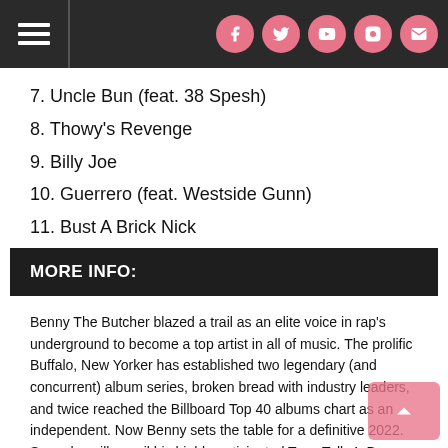Navigation bar with hamburger menu and social icons (Facebook, Twitter, YouTube, Instagram, Email)
7. Uncle Bun (feat. 38 Spesh)
8. Thowy's Revenge
9. Billy Joe
10. Guerrero (feat. Westside Gunn)
11. Bust A Brick Nick
12. Mr. Chow Hall
MORE INFO:
Benny The Butcher blazed a trail as an elite voice in rap's underground to become a top artist in all of music. The prolific Buffalo, New Yorker has established two legendary (and concurrent) album series, broken bread with industry leaders, and twice reached the Billboard Top 40 albums chart as an independent. Now Benny sets the table for a definitive 2022. Soon, he will unveil his highly-anticipated Tana Talk 4. By 2004, Benny combined these experiences to launch the Tana Talk series while on house arrest. As TT3 promised, Benny delivered two volumes of The Plugs I Met, in 2019 and 2021, on his Black Soprano Family imprint. In between, Benny inked with Roc Nation management and